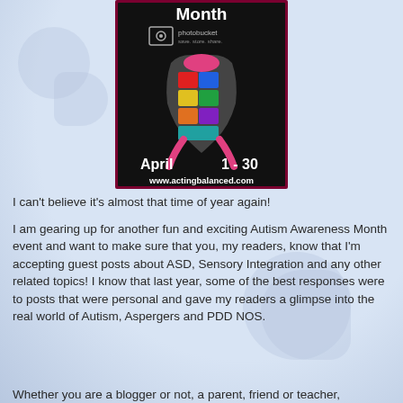[Figure (illustration): Autism Awareness Month promotional image with puzzle-piece ribbon, 'April 1-30', and www.actingbalanced.com on black background]
I can't believe it's almost that time of year again!
I am gearing up for another fun and exciting Autism Awareness Month event and want to make sure that you, my readers, know that I'm accepting guest posts about ASD, Sensory Integration and any other related topics!  I know that last year, some of the best responses were to posts that were personal and gave my readers a glimpse into the real world of Autism, Aspergers and PDD NOS.
Whether you are a blogger or not, a parent, friend or teacher,